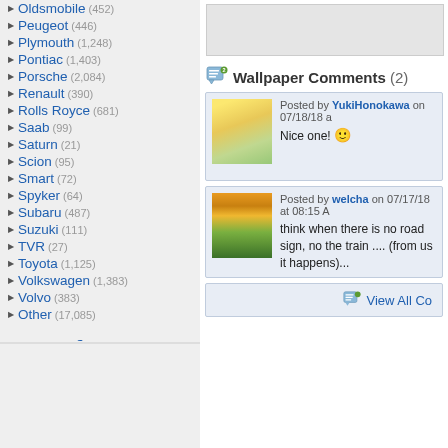Oldsmobile (452)
Peugeot (446)
Plymouth (1,248)
Pontiac (1,403)
Porsche (2,084)
Renault (390)
Rolls Royce (681)
Saab (99)
Saturn (21)
Scion (95)
Smart (72)
Spyker (64)
Subaru (487)
Suzuki (111)
TVR (27)
Toyota (1,125)
Volkswagen (1,383)
Volvo (383)
Other (17,085)
Downloads: 640,129,772
Car Walls: 73,292
All Wallpapers: 1,696,349
Tag Count: 9,948,936
Comments: 1,959,854
Members: 1,565,068
Votes: 12,971,712
5,924 Users Online
103 members, 5,821 guests
AlvaradoSulwen, Anderlecht, artinconstruction, Astro
Wallpaper Comments (2)
Posted by YukiHonokawa on 07/18/18 a
Nice one! 🙂
Posted by welcha on 07/17/18 at 08:15 A
think when there is no road sign, no the train .... (from us it happens)...
View All Co